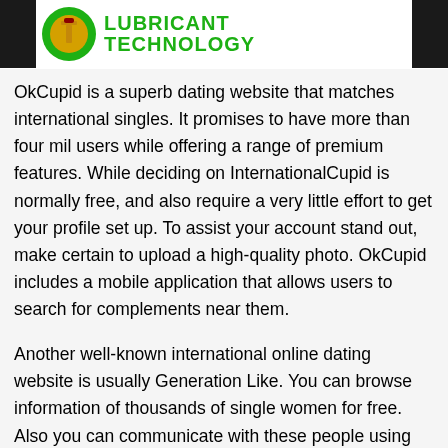LUBRICANT TECHNOLOGY
OkCupid is a superb dating website that matches international singles. It promises to have more than four mil users while offering a range of premium features. While deciding on InternationalCupid is normally free, and also require a very little effort to get your profile set up. To assist your account stand out, make certain to upload a high-quality photo. OkCupid includes a mobile application that allows users to search for complements near them.
Another well-known international online dating website is usually Generation Like. You can browse information of thousands of single women for free. Also you can communicate with these people using over the internet chat and translation tools. This website pairs European men with Eastern Western european women to develop long-lasting associations. You can also find sole men by Eastern The